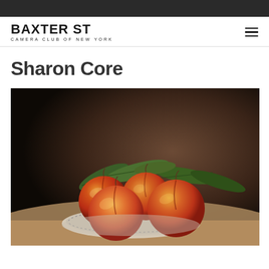Baxter St Camera Club of New York
Sharon Core
[Figure (photo): Still life photograph of peaches/nectarines with green leaves arranged on a decorative plate, reminiscent of Dutch Golden Age paintings, dark moody background]